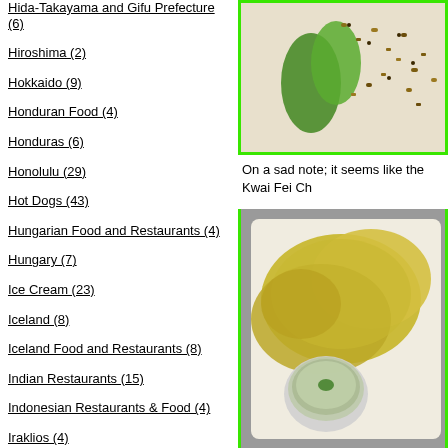Hida-Takayama and Gifu Prefecture (6)
Hiroshima (2)
Hokkaido (9)
Honduran Food (4)
Honduras (6)
Honolulu (29)
Hot Dogs (43)
Hungarian Food and Restaurants (4)
Hungary (7)
Ice Cream (23)
Iceland (8)
Iceland Food and Restaurants (8)
Indian Restaurants (15)
Indonesian Restaurants & Food (4)
Iraklios (4)
Iraqi Food and Restaurants (12)
Israel/Palestine (9)
Israeli Food (4)
[Figure (photo): Top photo showing food with green peppers and nuts/seeds on a white surface]
On a sad note; it seems like the Kwai Fei Ch
[Figure (photo): Bottom photo showing yellowish chicken pieces in a white styrofoam container with a small plastic sauce cup]